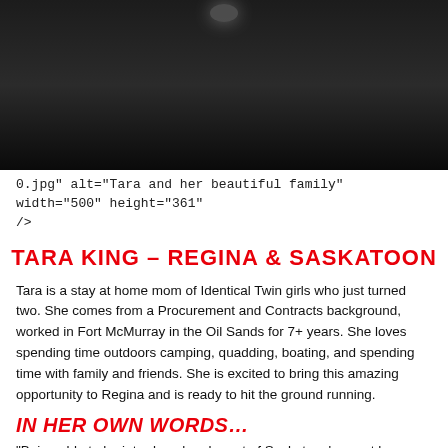[Figure (photo): Dark/black photograph, likely a person with family, mostly dark background with faint figure visible at top]
0.jpg" alt="Tara and her beautiful family" width="500" height="361" />
TARA KING – REGINA & SASKATOON
Tara is a stay at home mom of Identical Twin girls who just turned two. She comes from a Procurement and Contracts background, worked in Fort McMurray in the Oil Sands for 7+ years. She loves spending time outdoors camping, quadding, boating, and spending time with family and friends. She is excited to bring this amazing opportunity to Regina and is ready to hit the ground running.
IN HER OWN WORDS…
"Being able to be introduced and apart of Saskatoon's event has